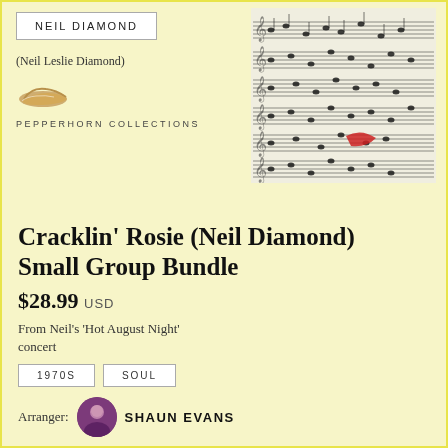NEIL DIAMOND
(Neil Leslie Diamond)
[Figure (logo): Pepperhorn Collections logo - a small golden/tan shoe or slipper]
PEPPERHORN COLLECTIONS
[Figure (photo): Sheet music notation pages showing multiple staves of musical notation]
Cracklin' Rosie (Neil Diamond) Small Group Bundle
$28.99 USD
From Neil's 'Hot August Night' concert
1970S
SOUL
Arranger: SHAUN EVANS